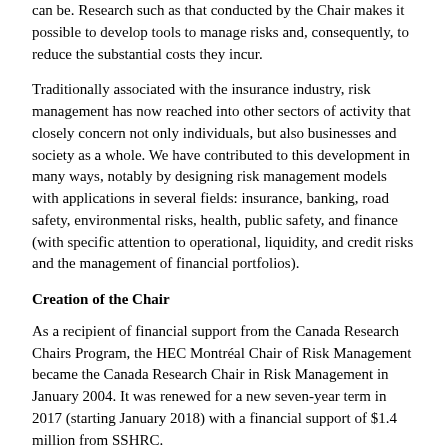can be. Research such as that conducted by the Chair makes it possible to develop tools to manage risks and, consequently, to reduce the substantial costs they incur.
Traditionally associated with the insurance industry, risk management has now reached into other sectors of activity that closely concern not only individuals, but also businesses and society as a whole. We have contributed to this development in many ways, notably by designing risk management models with applications in several fields: insurance, banking, road safety, environmental risks, health, public safety, and finance (with specific attention to operational, liquidity, and credit risks and the management of financial portfolios).
Creation of the Chair
As a recipient of financial support from the Canada Research Chairs Program, the HEC Montréal Chair of Risk Management became the Canada Research Chair in Risk Management in January 2004. It was renewed for a new seven-year term in 2017 (starting January 2018) with a financial support of $1.4 million from SSHRC.